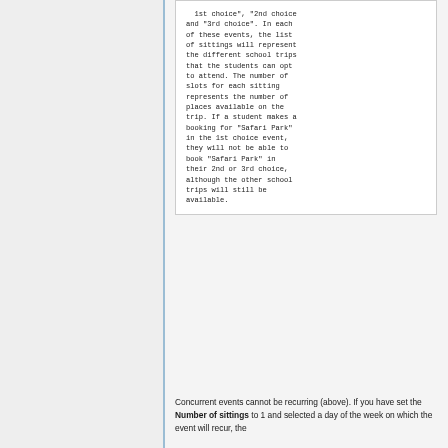1st choice", "2nd choice" and "3rd choice". In each of these events, the list of sittings will represent the different school trips that the students can opt to attend. The number of slots for each sitting represents the number of places available on the trip. If a student makes a booking for "Safari Park" in the 1st choice event, they will not be able to book "Safari Park" in their 2nd or 3rd choice, although the other school trips will still be available.
Concurrent events cannot be recurring (above). If you have set the Number of sittings to 1 and selected a day of the week on which the event will recur, the